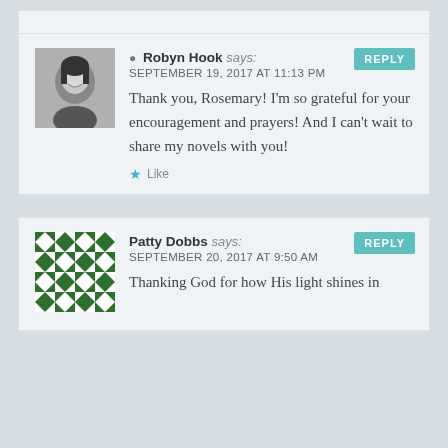Robyn Hook says: SEPTEMBER 19, 2017 AT 11:13 PM — Thank you, Rosemary! I'm so grateful for your encouragement and prayers! And I can't wait to share my novels with you! — Like
Patty Dobbs says: SEPTEMBER 20, 2017 AT 9:50 AM — Thanking God for how His light shines in